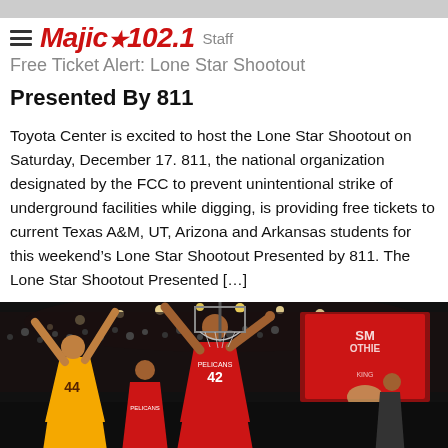Majic 102.1 — Staff
Free Ticket Alert: Lone Star Shootout Presented By 811
Toyota Center is excited to host the Lone Star Shootout on Saturday, December 17. 811, the national organization designated by the FCC to prevent unintentional strike of underground facilities while digging, is providing free tickets to current Texas A&M, UT, Arizona and Arkansas students for this weekend's Lone Star Shootout Presented by 811. The Lone Star Shootout Presented […]
[Figure (photo): Basketball game photo showing players — one in yellow Lakers uniform (#44) jumping, another in red Pelicans uniform (#42) defending near the basket, inside a large indoor arena with arena banners visible in background.]